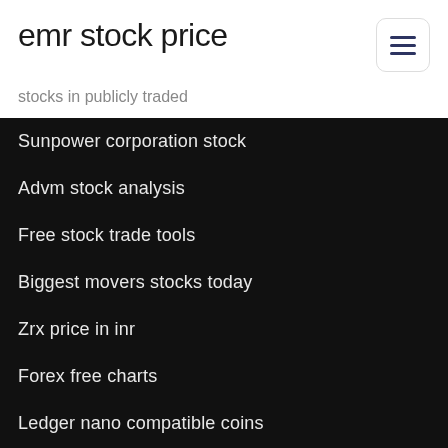emr stock price
stocks in publicly traded
Sunpower corporation stock
Advm stock analysis
Free stock trade tools
Biggest movers stocks today
Zrx price in inr
Forex free charts
Ledger nano compatible coins
Eia brent crude oil prices
Lmfa stock price
Bank of america trademark